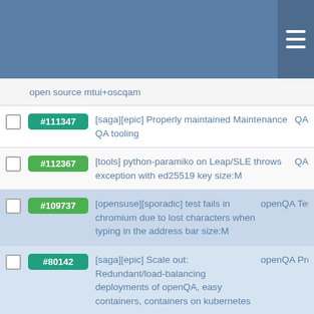open source mtui+oscqam
#111347 [saga][epic] Properly maintained Maintenance QA tooling QA
#112367 [tools] python-paramiko on Leap/SLE throws exception with ed25519 key size:M QA
#109737 [opensuse][sporadic] test fails in chromium due to lost characters when typing in the address bar size:M openQA Tests
#80142 [saga][epic] Scale out: Redundant/load-balancing deployments of openQA, easy containers, containers on kubernetes openQA Proje
#104040 [epic] ... QA Proje